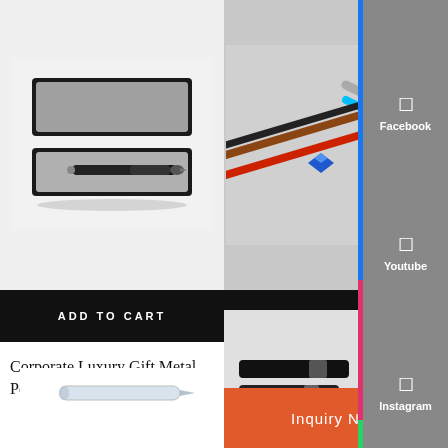[Figure (photo): Corporate luxury gift metal pen in a black velvet box, pen displayed inside open box]
ADD TO CART
Corporate Luxury Gift Metal Pen - Ultimate Pen
[Figure (photo): Multiple aluminum ballpoint pens in various colors displayed on a white background]
ADD TO CART
Aluminum Ballpoint Pen - Siren Pen
[Figure (photo): Partial photo of black pens at bottom right]
Inquiry Now
[Figure (infographic): Social media sidebar with Facebook, Youtube, Instagram, and Whatsapp links]